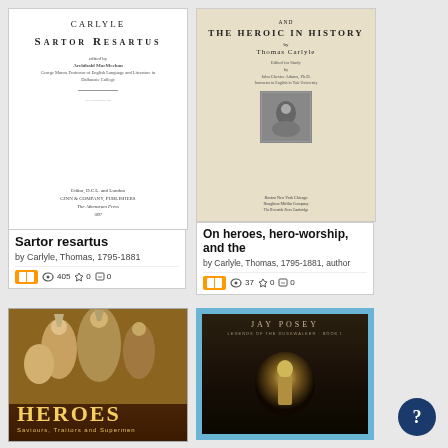[Figure (illustration): Book cover of Sartor Resartus by Carlyle, edited by Archibald MacMechan, white cover with text]
Sartor resartus
by Carlyle, Thomas, 1795-1881
405 views, 0 favorites, 0 comments
[Figure (illustration): Book cover of On Heroes, Hero-Worship, and the Heroic in History by Thomas Carlyle, edited for study by John Chester Adams, aged yellowed cover]
On heroes, hero-worship, and the
by Carlyle, Thomas, 1795-1881, author
37 views, 0 favorites, 0 comments
[Figure (photo): Book cover of Heroes: Saviours, Traitors and Supermen, showing classical painting of warriors/heroes in dramatic scene with gold title text]
[Figure (illustration): Book cover of a Jay Posey book, Legends of the Duskwalker, dark atmospheric cover with glowing figure, blue border]